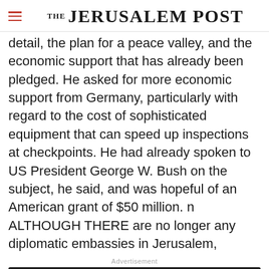THE JERUSALEM POST
detail, the plan for a peace valley, and the economic support that has already been pledged. He asked for more economic support from Germany, particularly with regard to the cost of sophisticated equipment that can speed up inspections at checkpoints. He had already spoken to US President George W. Bush on the subject, he said, and was hopeful of an American grant of $50 million. n ALTHOUGH THERE are no longer any diplomatic embassies in Jerusalem,
Advertisement
[Figure (other): Advertisement banner for Reichman University Applied Business International School and SHEBA, showing text 'Jumpstart your career' on a dark background]